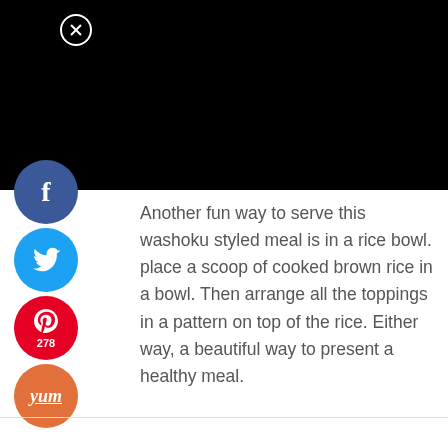[Figure (other): Black image/video bar at top of page with a close (X) button in circle]
Another fun way to serve this washoku styled meal is in a rice bowl. place a scoop of cooked brown rice in a bowl. Then arrange all the toppings in a pattern on top of the rice. Either way, a beautiful way to present a healthy meal.